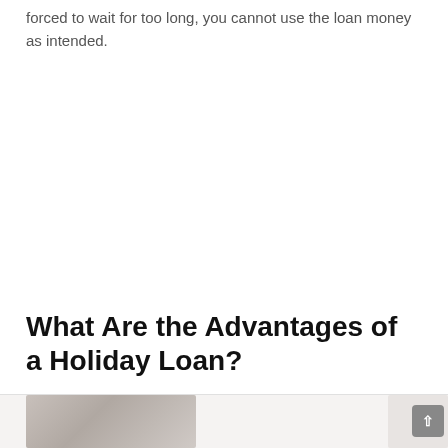forced to wait for too long, you cannot use the loan money as intended.
What Are the Advantages of a Holiday Loan?
[Figure (photo): Partial photo of a person (blurred/cropped), shown at the bottom of the page below a horizontal divider line]